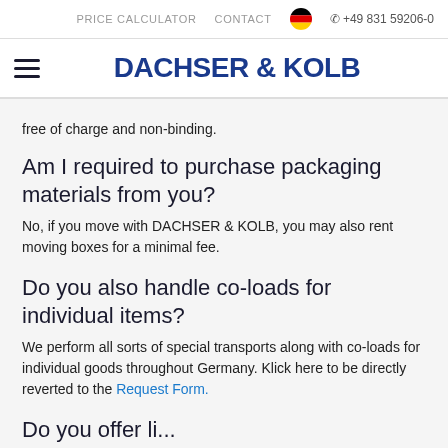PRICE CALCULATOR   CONTACT   🇩🇪   +49 831 59206-0
≡   DACHSER & KOLB
free of charge and non-binding.
Am I required to purchase packaging materials from you?
No, if you move with DACHSER & KOLB, you may also rent moving boxes for a minimal fee.
Do you also handle co-loads for individual items?
We perform all sorts of special transports along with co-loads for individual goods throughout Germany. Klick here to be directly reverted to the Request Form.
Do you offer li...